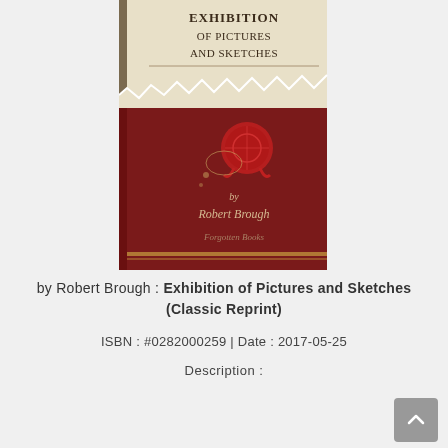[Figure (illustration): Book cover of 'Exhibition of Pictures and Sketches' by Robert Brough, published by Forgotten Books (Classic Reprint). The cover shows a cream/ivory upper section with serif title text, and a dark red/maroon lower section with a wax seal, author name in italic script, and publisher name in decorative script. A torn paper effect divides the two sections.]
by Robert Brough : Exhibition of Pictures and Sketches (Classic Reprint)
ISBN : #0282000259 | Date : 2017-05-25
Description :